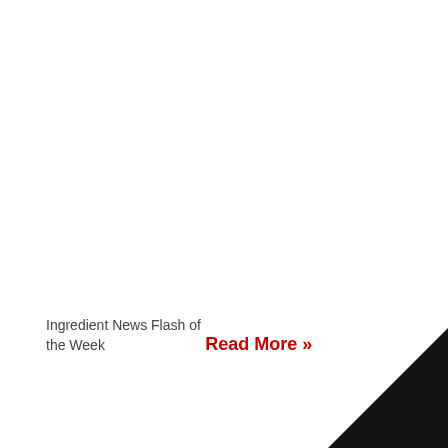Ingredient News Flash of the Week
Read More »